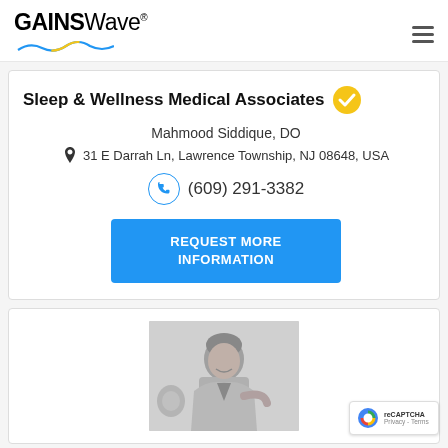GAINSWave
Sleep & Wellness Medical Associates
Mahmood Siddique, DO
31 E Darrah Ln, Lawrence Township, NJ 08648, USA
(609) 291-3382
REQUEST MORE INFORMATION
[Figure (photo): Black and white photo of a woman with short hair, smiling, near medical equipment]